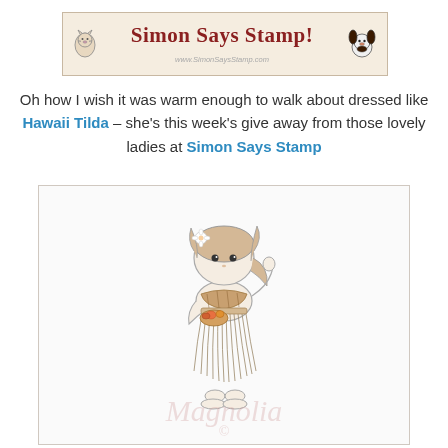[Figure (logo): Simon Says Stamp banner logo with cat and dog mascots, text on beige/parchment background]
Oh how I wish it was warm enough to walk about dressed like Hawaii Tilda – she's this week's give away from those lovely ladies at Simon Says Stamp
[Figure (illustration): Line drawing illustration of Hawaii Tilda character – a cute girl in a hula grass skirt, floral top, flower in hair, holding something, with Magnolia watermark and copyright mark]